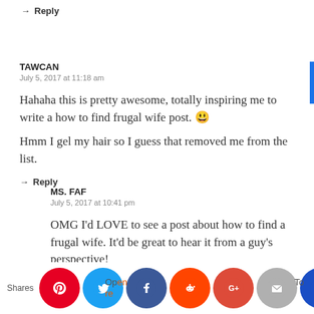→ Reply
TAWCAN
July 5, 2017 at 11:18 am
Hahaha this is pretty awesome, totally inspiring me to write a how to find frugal wife post. 😀
Hmm I gel my hair so I guess that removed me from the list.
→ Reply
MS. FAF
July 5, 2017 at 10:41 pm
OMG I'd LOVE to see a post about how to find a frugal wife. It'd be great to hear it from a guy's perspective!
[Figure (infographic): Social share bar with icons for Pinterest, Twitter, Facebook, Reddit, Google+, Email, and a crown icon. Shows 'Shares' label on the left and partial text 'Open' and 'To' visible behind circles.]